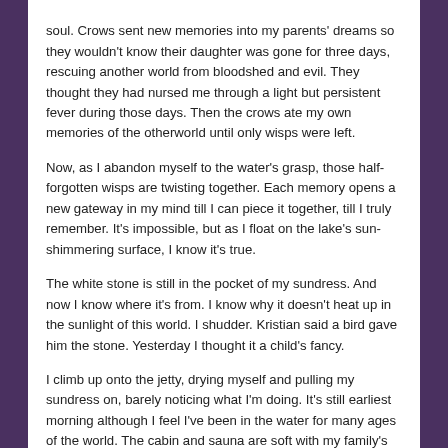soul. Crows sent new memories into my parents' dreams so they wouldn't know their daughter was gone for three days, rescuing another world from bloodshed and evil. They thought they had nursed me through a light but persistent fever during those days. Then the crows ate my own memories of the otherworld until only wisps were left.
Now, as I abandon myself to the water's grasp, those half-forgotten wisps are twisting together. Each memory opens a new gateway in my mind till I can piece it together, till I truly remember. It's impossible, but as I float on the lake's sun-shimmering surface, I know it's true.
The white stone is still in the pocket of my sundress. And now I know where it's from. I know why it doesn't heat up in the sunlight of this world. I shudder. Kristian said a bird gave him the stone. Yesterday I thought it a child's fancy.
I climb up onto the jetty, drying myself and pulling my sundress on, barely noticing what I'm doing. It's still earliest morning although I feel I've been in the water for many ages of the world. The cabin and sauna are soft with my family's sleep.